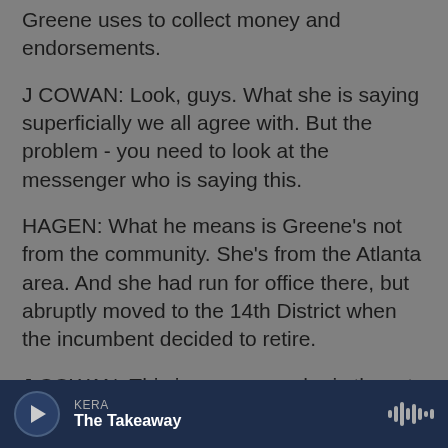Greene uses to collect money and endorsements.
J COWAN: Look, guys. What she is saying superficially we all agree with. But the problem - you need to look at the messenger who is saying this.
HAGEN: What he means is Greene's not from the community. She's from the Atlanta area. And she had run for office there, but abruptly moved to the 14th District when the incumbent decided to retire.
J COWAN: This is someone who is there to get something from the community.
HAGEN: That's not how Farrell Cowan feels about
KERA
The Takeaway